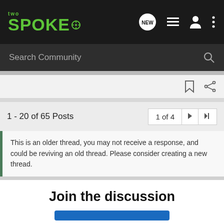two SPOKE
Search Community
1 - 20 of 65 Posts
1 of 4
This is an older thread, you may not receive a response, and could be reviving an old thread. Please consider creating a new thread.
Join the discussion
[Figure (screenshot): Advertisement banner for Glock Optic Ready Slimline MOS pistol with orange 'Find a Dealer' button and Glock Perfection logo]